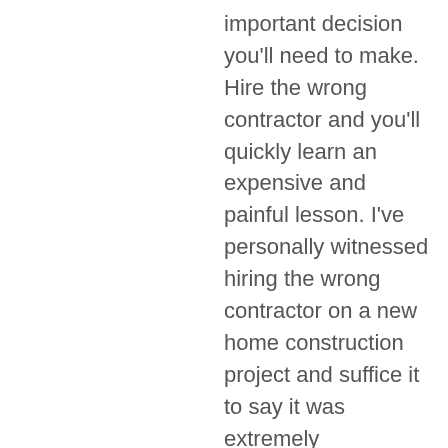important decision you'll need to make. Hire the wrong contractor and you'll quickly learn an expensive and painful lesson. I've personally witnessed hiring the wrong contractor on a new home construction project and suffice it to say it was extremely